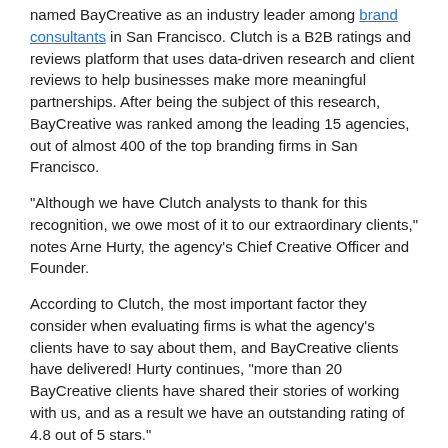named BayCreative as an industry leader among brand consultants in San Francisco. Clutch is a B2B ratings and reviews platform that uses data-driven research and client reviews to help businesses make more meaningful partnerships. After being the subject of this research, BayCreative was ranked among the leading 15 agencies, out of almost 400 of the top branding firms in San Francisco.
"Although we have Clutch analysts to thank for this recognition, we owe most of it to our extraordinary clients," notes Arne Hurty, the agency's Chief Creative Officer and Founder.
According to Clutch, the most important factor they consider when evaluating firms is what the agency's clients have to say about them, and BayCreative clients have delivered! Hurty continues, "more than 20 BayCreative clients have shared their stories of working with us, and as a result we have an outstanding rating of 4.8 out of 5 stars."
Although we have received a large amount of feedback, we were struck by the words of one of our clients. When asked what they found impressive about BayCreative, they responded by saying:
“BayCreative demonstrates excellent listening, flexibility, a clear sense of design, and a knack for creative problem-solving. The team works closely with us to accommodate changes to the statement of work and never turns down a request.”
Scott Danish, BayCreative President and Co-owner, reflects "We strive to be a valuable partner on every project we complete, and reviews like this let us know that we are hitting our mark. We appreciate this opportunity to keep track of how we are performing for our clients, and we cannot wait to see what else